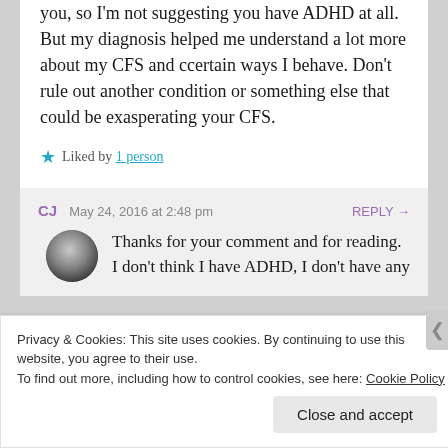you, so I'm not suggesting you have ADHD at all. But my diagnosis helped me understand a lot more about my CFS and ccertain ways I behave. Don't rule out another condition or something else that could be exasperating your CFS.
★ Liked by 1 person
CJ   May 24, 2016 at 2:48 pm   REPLY →
Thanks for your comment and for reading. I don't think I have ADHD, I don't have any
Privacy & Cookies: This site uses cookies. By continuing to use this website, you agree to their use. To find out more, including how to control cookies, see here: Cookie Policy
Close and accept